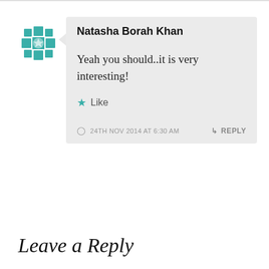[Figure (logo): Teal geometric mandala/cross avatar icon for user Natasha Borah Khan]
Natasha Borah Khan
Yeah you should..it is very interesting!
★ Like
24TH NOV 2014 AT 6:30 AM
↳ REPLY
Leave a Reply